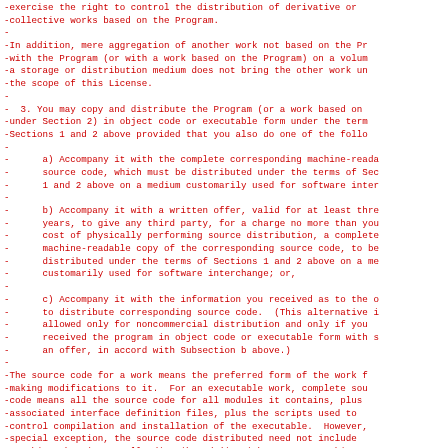-exercise the right to control the distribution of derivative or
-collective works based on the Program.
-
-In addition, mere aggregation of another work not based on the Pr
-with the Program (or with a work based on the Program) on a volum
-a storage or distribution medium does not bring the other work un
-the scope of this License.
-
-  3. You may copy and distribute the Program (or a work based on
-under Section 2) in object code or executable form under the term
-Sections 1 and 2 above provided that you also do one of the follo
-
-      a) Accompany it with the complete corresponding machine-reada
-      source code, which must be distributed under the terms of Sec
-      1 and 2 above on a medium customarily used for software inter
-
-      b) Accompany it with a written offer, valid for at least thre
-      years, to give any third party, for a charge no more than you
-      cost of physically performing source distribution, a complete
-      machine-readable copy of the corresponding source code, to be
-      distributed under the terms of Sections 1 and 2 above on a me
-      customarily used for software interchange; or,
-
-      c) Accompany it with the information you received as to the o
-      to distribute corresponding source code.  (This alternative i
-      allowed only for noncommercial distribution and only if you
-      received the program in object code or executable form with s
-      an offer, in accord with Subsection b above.)
-
-The source code for a work means the preferred form of the work f
-making modifications to it.  For an executable work, complete sou
-code means all the source code for all modules it contains, plus
-associated interface definition files, plus the scripts used to
-control compilation and installation of the executable.  However,
-special exception, the source code distributed need not include
-anything that is normally distributed (in either source or binary
-form) with the major components (compiler, kernel, and so on) of
-operating system on which the executable runs, unless that copy